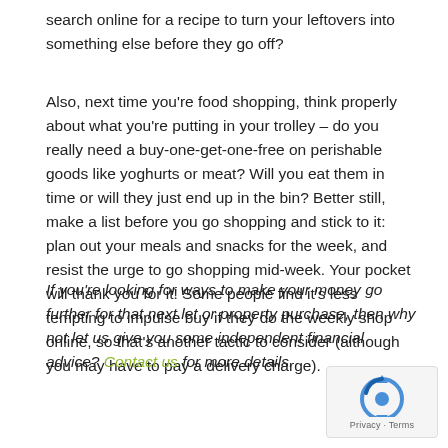search online for a recipe to turn your leftovers into something else before they go off?
Also, next time you're food shopping, think properly about what you're putting in your trolley – do you really need a buy-one-get-one-free on perishable goods like yoghurts or meat? Will you eat them in time or will they just end up in the bin? Better still, make a list before you go shopping and stick to it: plan out your meals and snacks for the week, and resist the urge to go shopping mid-week. Your pocket will thank you for it! Some people find it's less tempting to impulse buy if they do the weekly shop online, so that's another tactic to consider (although you may have to pay a delivery charge).
If you're looking for ways to make your money go further for that next let or property purchase, then why not let us give you some independent financial advice? Contact us for more details.
[Figure (logo): reCAPTCHA logo with Privacy and Terms text]